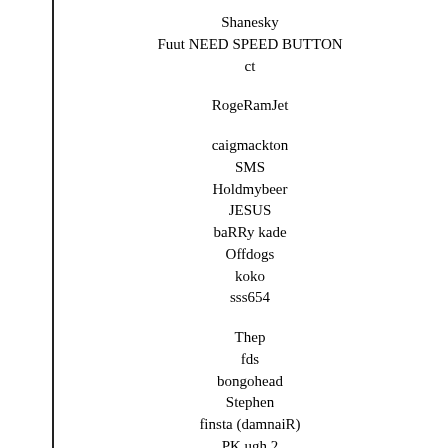Shanesky
Fuut NEED SPEED BUTTON
ct
RogeRamJet
caigmackton
SMS
Holdmybeer
JESUS
baRRy kade
Offdogs
koko
sss654
Thep
fds
bongohead
Stephen
finsta (damnaiR)
PK ugh 2
Fuut atleast easy goes fast